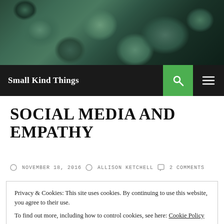[Figure (photo): Header image showing green succulent plants arranged closely together, dark teal and green tones]
Small Kind Things
SOCIAL MEDIA AND EMPATHY
NOVEMBER 18, 2016   ALLISON KETCHELL   2 COMMENTS
Privacy & Cookies: This site uses cookies. By continuing to use this website, you agree to their use. To find out more, including how to control cookies, see here: Cookie Policy
Close and accept